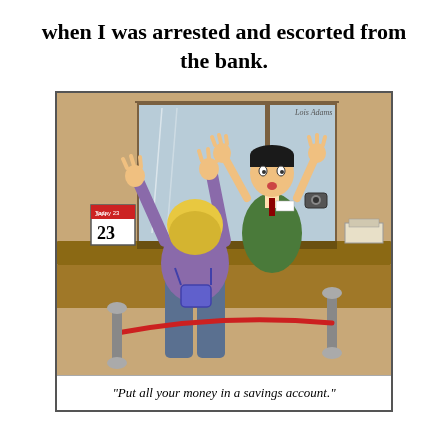when I was arrested and escorted from the bank.
[Figure (illustration): A cartoon showing a woman with arms raised at a bank teller window. The teller behind the counter looks alarmed and holds something. A calendar on the counter shows '23'. There is a red velvet rope barrier. The caption reads: 'Put all your money in a savings account.']
"Put all your money in a savings account."